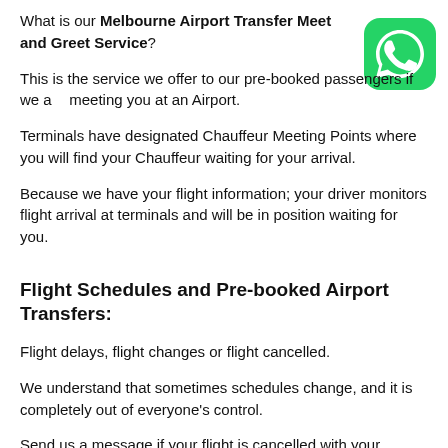What is our Melbourne Airport Transfer Meet and Greet Service?
[Figure (logo): WhatsApp green logo icon in top right corner]
This is the service we offer to our pre-booked passengers if we are meeting you at an Airport.
Terminals have designated Chauffeur Meeting Points where you will find your Chauffeur waiting for your arrival.
Because we have your flight information; your driver monitors flight arrival at terminals and will be in position waiting for you.
Flight Schedules and Pre-booked Airport Transfers:
Flight delays, flight changes or flight cancelled.
We understand that sometimes schedules change, and it is completely out of everyone's control.
Send us a message if your flight is cancelled with your updated flight information.